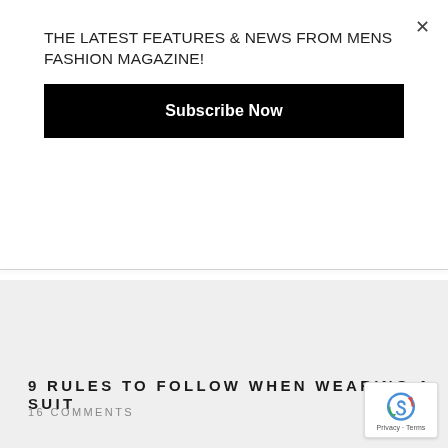THE LATEST FEATURES & NEWS FROM MENS FASHION MAGAZINE!
Subscribe Now
9 RULES TO FOLLOW WHEN WEARING A SUIT
16 COMMENTS